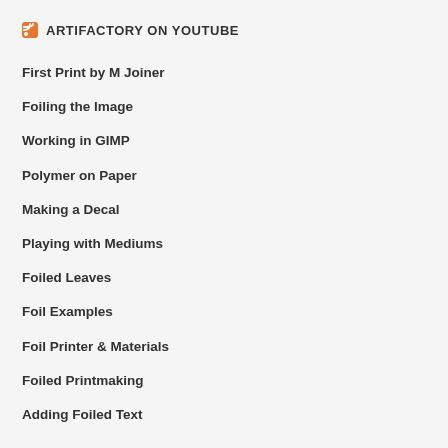ARTIFACTORY ON YOUTUBE
First Print by M Joiner
Foiling the Image
Working in GIMP
Polymer on Paper
Making a Decal
Playing with Mediums
Foiled Leaves
Foil Examples
Foil Printer & Materials
Foiled Printmaking
Adding Foiled Text